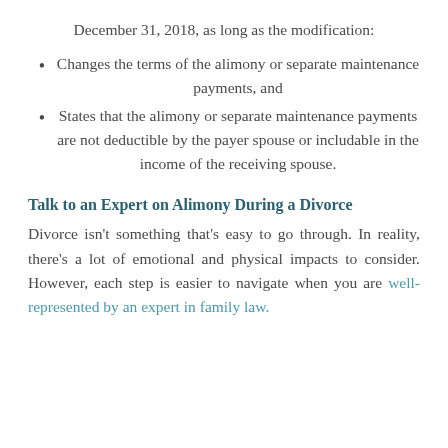December 31, 2018, as long as the modification:
Changes the terms of the alimony or separate maintenance payments, and
States that the alimony or separate maintenance payments are not deductible by the payer spouse or includable in the income of the receiving spouse.
Talk to an Expert on Alimony During a Divorce
Divorce isn't something that's easy to go through. In reality, there's a lot of emotional and physical impacts to consider. However, each step is easier to navigate when you are well-represented by an expert in family law.